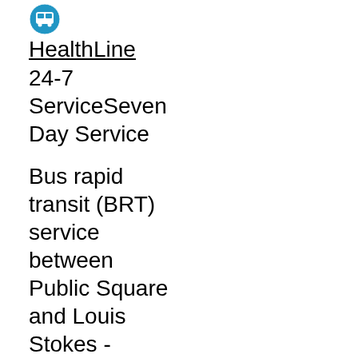[Figure (logo): Blue bus icon circle]
HealthLine
24-7 ServiceSeven Day Service
Bus rapid transit (BRT) service between Public Square and Louis Stokes - Windermere Rapid Station
Effective: Aug 26, 2022 to Aug 29, 2022
Euclid Avenue Construction
yes
0
[Figure (logo): Blue bus icon circle]
7-7A: